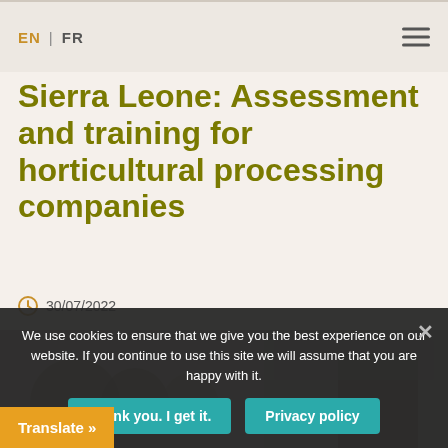EN | FR
Sierra Leone: Assessment and training for horticultural processing companies
30/07/2022
[Figure (photo): Two side-by-side photos showing people at a training or conference event related to horticultural processing in Sierra Leone]
We use cookies to ensure that we give you the best experience on our website. If you continue to use this site we will assume that you are happy with it.
Thank you. I get it.
Privacy policy
Translate »